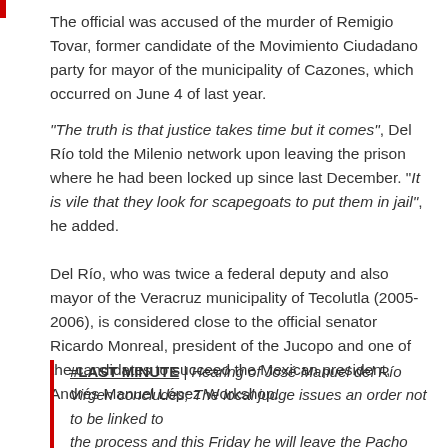The official was accused of the murder of Remigio Tovar, former candidate of the Movimiento Ciudadano party for mayor of the municipality of Cazones, which occurred on June 4 of last year.
“The truth is that justice takes time but it comes”, Del Río told the Milenio network upon leaving the prison where he had been locked up since last December. “It is vile that they look for scapegoats to put them in jail”, he added.
Del Río, who was twice a federal deputy and also mayor of the Veracruz municipality of Tecolutla (2005-2006), is considered close to the official senator Ricardo Monreal, president of the Jucopo and one of the candidates to succeed the Mexican president, Andrés Manuel López Workshop.
#LAST MINUTE | Hearing of José Manuel del Río Virgen concludes; The local judge issues an order not to be linked to the process and this Friday he will leave the Pacho Viejo…